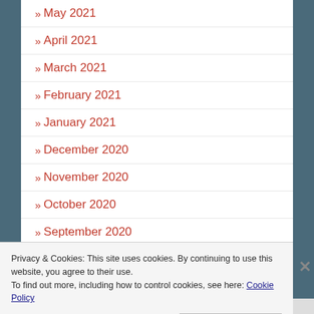» May 2021
» April 2021
» March 2021
» February 2021
» January 2021
» December 2020
» November 2020
» October 2020
» September 2020
» August 2020
» June 2020
Privacy & Cookies: This site uses cookies. By continuing to use this website, you agree to their use.
To find out more, including how to control cookies, see here: Cookie Policy
Close and accept